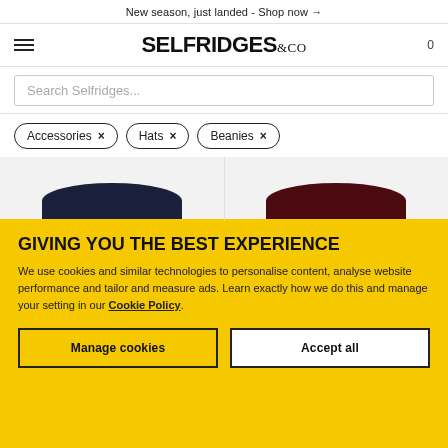New season, just landed - Shop now →
[Figure (logo): Selfridges & Co logo with hamburger menu icon and cart count 0]
Search Selfridges...
Accessories ×
Hats ×
Beanies ×
[Figure (photo): Navy ribbed knit beanie hat from Valentino Garavani, NEW SEASON tag]
VALENTINO GARAVANI
Logo-embroidered ribbed
[Figure (photo): Dark burgundy ribbed knit beanie hat from Valentino Garavani, NEW SEASON tag]
VALENTINO GARAVANI
Logo-embroidered ribbed
GIVING YOU THE BEST EXPERIENCE
We use cookies and similar technologies to personalise content, analyse website performance and tailor and measure ads. Learn exactly how we do this and manage your setting in our Cookie Policy.
Manage cookies
Accept all